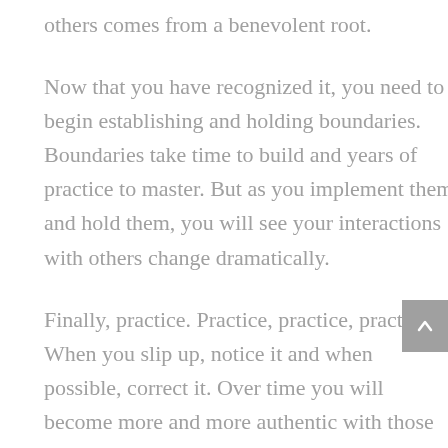others comes from a benevolent root.
Now that you have recognized it, you need to begin establishing and holding boundaries. Boundaries take time to build and years of practice to master. But as you implement them and hold them, you will see your interactions with others change dramatically.
Finally, practice. Practice, practice, practice. When you slip up, notice it and when possible, correct it. Over time you will become more and more authentic with those around you, causing the Chameleon Effect to slip away. Each time you stand firmer in your truth and respect the